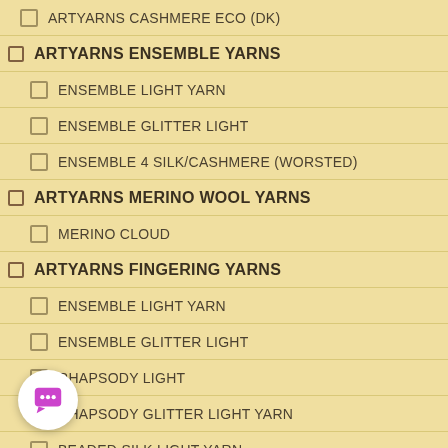ARTYARNS CASHMERE ECO (DK)
ARTYARNS ENSEMBLE YARNS
ENSEMBLE LIGHT YARN
ENSEMBLE GLITTER LIGHT
ENSEMBLE 4 SILK/CASHMERE (WORSTED)
ARTYARNS MERINO WOOL YARNS
MERINO CLOUD
ARTYARNS FINGERING YARNS
ENSEMBLE LIGHT YARN
ENSEMBLE GLITTER LIGHT
RHAPSODY LIGHT
RHAPSODY GLITTER LIGHT YARN
BEADED SILK LIGHT YARN
BEADED SILK & SEQUINS LIGHT
MOHAIR FINGERING OMBRES
CASHMERE FINGERING OMBRE